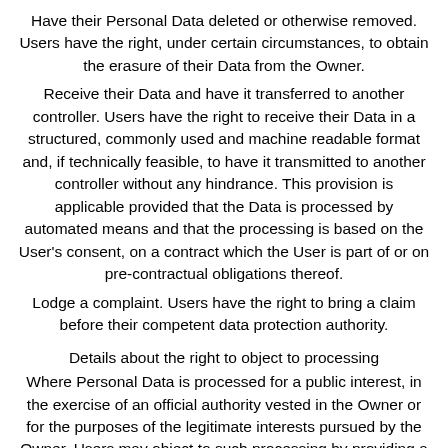Have their Personal Data deleted or otherwise removed. Users have the right, under certain circumstances, to obtain the erasure of their Data from the Owner.
Receive their Data and have it transferred to another controller. Users have the right to receive their Data in a structured, commonly used and machine readable format and, if technically feasible, to have it transmitted to another controller without any hindrance. This provision is applicable provided that the Data is processed by automated means and that the processing is based on the User's consent, on a contract which the User is part of or on pre-contractual obligations thereof.
Lodge a complaint. Users have the right to bring a claim before their competent data protection authority.
Details about the right to object to processing
Where Personal Data is processed for a public interest, in the exercise of an official authority vested in the Owner or for the purposes of the legitimate interests pursued by the Owner, Users may object to such processing by providing a ground related to their particular situation to justify the